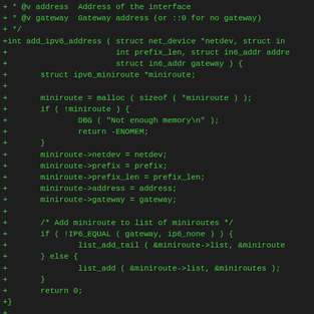[Figure (screenshot): Source code diff showing C code for add_ipv6_address function and beginning of Remove IPv6 interface comment, displayed in a dark terminal/editor with green monospace text. Lines begin with '+' indicating added lines in a diff.]